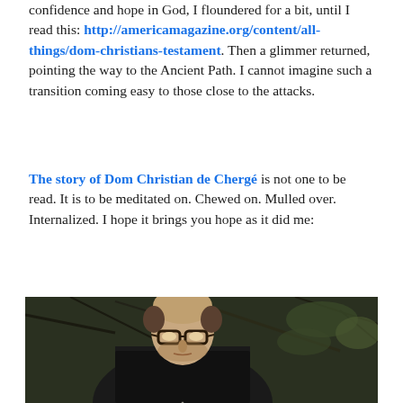confidence and hope in God, I floundered for a bit, until I read this: http://americamagazine.org/content/all-things/dom-christians-testament. Then a glimmer returned, pointing the way to the Ancient Path. I cannot imagine such a transition coming easy to those close to the attacks.
The story of Dom Christian de Chergé is not one to be read. It is to be meditated on. Chewed on. Mulled over. Internalized. I hope it brings you hope as it did me:
[Figure (photo): Black and white photograph of Dom Christian de Chergé, a monk wearing a dark habit with white inner garment, wearing thick-framed glasses, slightly balding, looking downward, with bare branches visible in the background.]